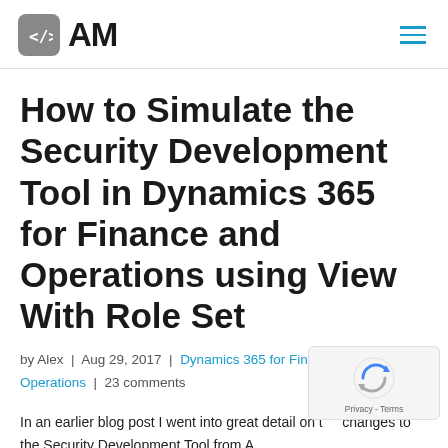</>AM
How to Simulate the Security Development Tool in Dynamics 365 for Finance and Operations using View With Role Set
by Alex | Aug 29, 2017 | Dynamics 365 for Finance and Operations | 23 comments
In an earlier blog post I went into great detail on the changes to the Security Development Tool from A…